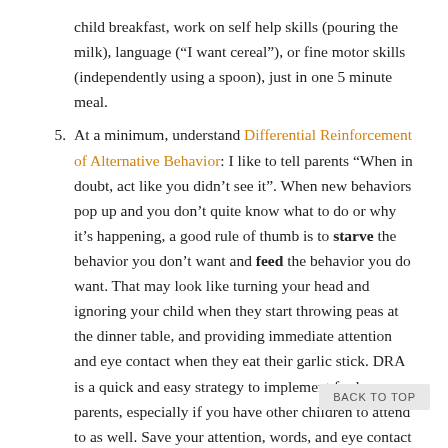child breakfast, work on self help skills (pouring the milk), language (“I want cereal”), or fine motor skills (independently using a spoon), just in one 5 minute meal.
5. At a minimum, understand Differential Reinforcement of Alternative Behavior: I like to tell parents “When in doubt, act like you didn’t see it”. When new behaviors pop up and you don’t quite know what to do or why it’s happening, a good rule of thumb is to starve the behavior you don’t want and feed the behavior you do want. That may look like turning your head and ignoring your child when they start throwing peas at the dinner table, and providing immediate attention and eye contact when they eat their garlic stick. DRA is a quick and easy strategy to implement for busy parents, especially if you have other children to attend to as well. Save your attention, words, and eye contact for the behaviors you want to increase. Then think about a replacement behavior. For
BACK TO TOP